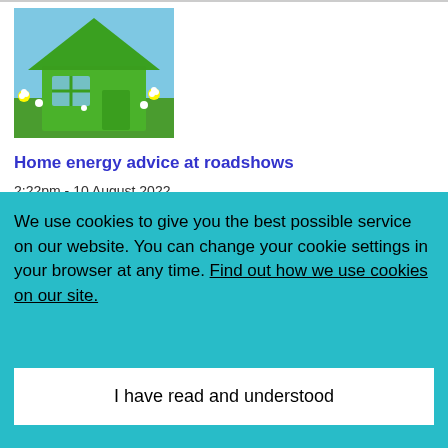[Figure (illustration): A green house shape made of grass with a blue sky and flowers background]
Home energy advice at roadshows
2:22pm - 10 August 2022
We use cookies to give you the best possible service on our website. You can change your cookie settings in your browser at any time. Find out how we use cookies on our site.
I have read and understood